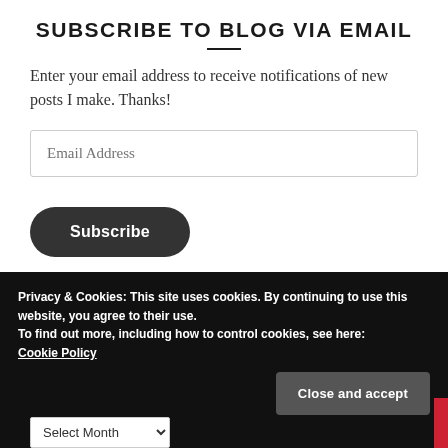SUBSCRIBE TO BLOG VIA EMAIL
Enter your email address to receive notifications of new posts I make. Thanks!
[Figure (screenshot): Email address input field with placeholder text 'Email Address']
[Figure (screenshot): Dark rounded Subscribe button]
Privacy & Cookies: This site uses cookies. By continuing to use this website, you agree to their use.
To find out more, including how to control cookies, see here:
Cookie Policy
[Figure (screenshot): Close and accept button in dark grey]
[Figure (screenshot): Select Month dropdown]